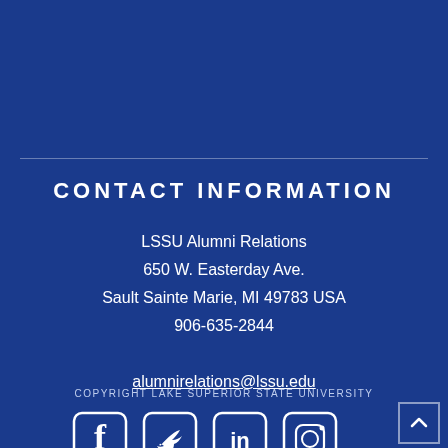CONTACT INFORMATION
LSSU Alumni Relations
650 W. Easterday Ave.
Sault Sainte Marie, MI 49783 USA
906-635-2844
alumnirelations@lssu.edu
COPYRIGHT LAKE SUPERIOR STATE UNIVERSITY
[Figure (illustration): Social media icons: Facebook, Twitter, LinkedIn, Instagram]